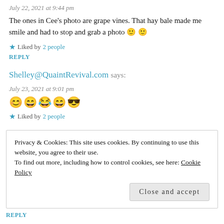July 22, 2021 at 9:44 pm
The ones in Cee's photo are grape vines. That hay bale made me smile and had to stop and grab a photo 🙂 🙂
★ Liked by 2 people
REPLY
Shelley@QuaintRevival.com says:
July 23, 2021 at 9:01 pm
😊😄😂😄😎
★ Liked by 2 people
Privacy & Cookies: This site uses cookies. By continuing to use this website, you agree to their use. To find out more, including how to control cookies, see here: Cookie Policy
Close and accept
REPLY